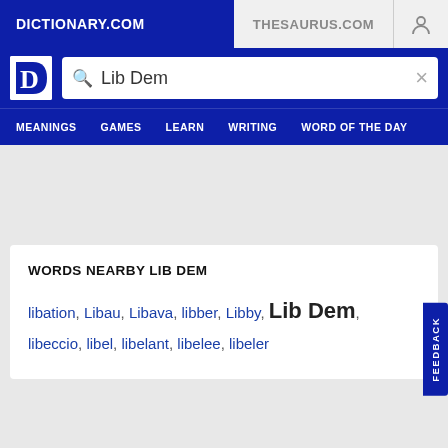DICTIONARY.COM
THESAURUS.COM
Lib Dem
MEANINGS  GAMES  LEARN  WRITING  WORD OF THE DAY
WORDS NEARBY LIB DEM
libation, Libau, Libava, libber, Libby, Lib Dem, libeccio, libel, libelant, libelee, libeler